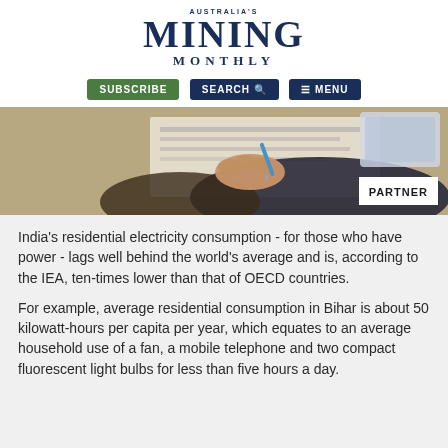AUSTRALIA'S MINING MONTHLY
[Figure (screenshot): Navigation bar with SUBSCRIBE, SEARCH, and MENU buttons on white background]
[Figure (photo): Person writing on paper with a pen, with a PARTNER badge overlay in bottom right]
India's residential electricity consumption - for those who have power - lags well behind the world's average and is, according to the IEA, ten-times lower than that of OECD countries.
For example, average residential consumption in Bihar is about 50 kilowatt-hours per capita per year, which equates to an average household use of a fan, a mobile telephone and two compact fluorescent light bulbs for less than five hours a day.